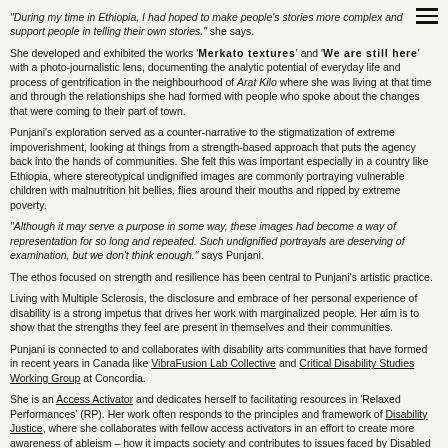"During my time in Ethiopia, I had hoped to make people's stories more complex and support people in telling their own stories." she says.
She developed and exhibited the works 'Merkato textures' and 'We are still here' with a photo-journalistic lens, documenting the analytic potential of everyday life and process of gentrification in the neighbourhood of Arat Kilo where she was living at that time and through the relationships she had formed with people who spoke about the changes that were coming to their part of town.
Punjani's exploration served as a counter-narrative to the stigmatization of extreme impoverishment, looking at things from a strength-based approach that puts the agency back into the hands of communities. She felt this was important especially in a country like Ethiopia, where stereotypical undignified images are commonly portraying vulnerable children with malnutrition hit bellies, flies around their mouths and ripped by extreme poverty.
"Although it may serve a purpose in some way, these images had become a way of representation for so long and repeated. Such undignified portrayals are deserving of examination, but we don't think enough." says Punjani.
The ethos focused on strength and resilience has been central to Punjani's artistic practice.
Living with Multiple Sclerosis, the disclosure and embrace of her personal experience of disability is a strong impetus that drives her work with marginalized people. Her aim is to show that the strengths they feel are present in themselves and their communities.
Punjani is connected to and collaborates with disability arts communities that have formed in recent years in Canada like VibraFusion Lab Collective and Critical Disability Studies Working Group at Concordia.
She is an Access Activator and dedicates herself to facilitating resources in 'Relaxed Performances' (RP). Her work often responds to the principles and framework of Disability Justice, where she collaborates with fellow access activators in an effort to create more awareness of ableism – how it impacts society and contributes to issues faced by Disabled people.
Such strong community ties and social engagement has brought her many valuable relationships, self-acceptance and a greater sense of belonging.